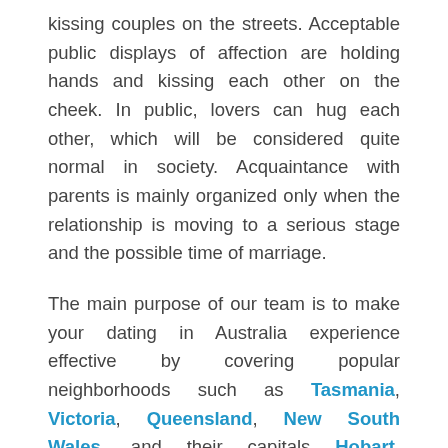kissing couples on the streets. Acceptable public displays of affection are holding hands and kissing each other on the cheek. In public, lovers can hug each other, which will be considered quite normal in society. Acquaintance with parents is mainly organized only when the relationship is moving to a serious stage and the possible time of marriage.
The main purpose of our team is to make your dating in Australia experience effective by covering popular neighborhoods such as Tasmania, Victoria, Queensland, New South Wales, and their capitals Hobart, Melbourne, Brisbane, Sydney. We are very anxious to have all visitors have bright